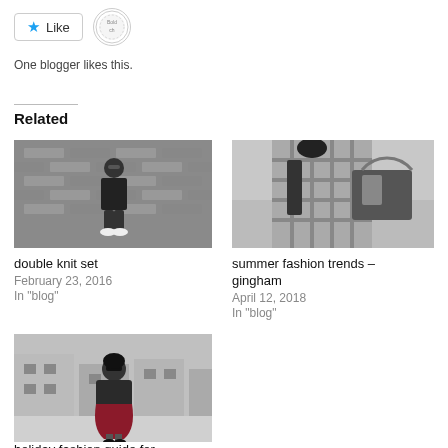[Figure (other): Like button with star icon and a circular avatar/logo icon]
One blogger likes this.
Related
[Figure (photo): Black and white photo of a woman in a dark outfit and white sneakers standing in front of a brick wall]
double knit set
February 23, 2016
In "blog"
[Figure (photo): Color photo of a woman in a gingham dress holding a large black bag on a city street]
summer fashion trends – gingham
April 12, 2018
In "blog"
[Figure (photo): Color photo of a woman in a dark jacket and burgundy skirt on a city sidewalk]
holiday fashion guide for